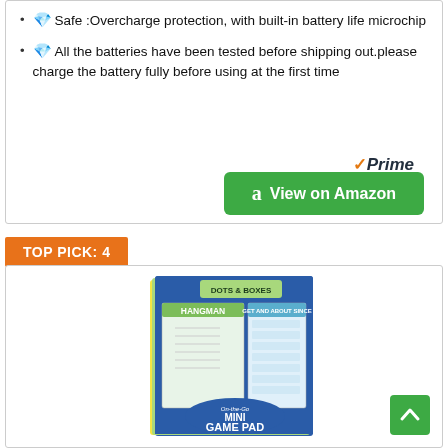💎Safe :Overcharge protection, with built-in battery life microchip
💎All the batteries have been tested before shipping out.please charge the battery fully before using at the first time
[Figure (logo): Amazon Prime logo with orange checkmark]
[Figure (other): Green 'View on Amazon' button with Amazon 'a' icon]
TOP PICK: 4
[Figure (photo): On-the-Go Mini Game Pad product image showing a blue game activity pad with Hangman, Dots & Boxes, and other games]